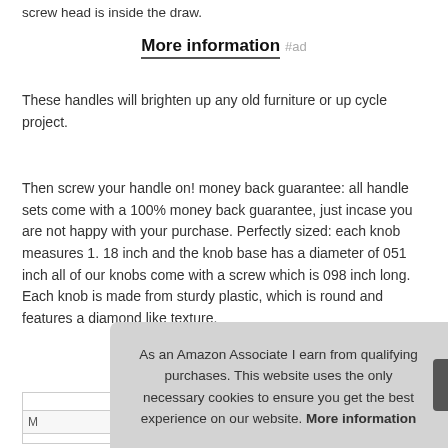screw head is inside the draw.
More information #ad
These handles will brighten up any old furniture or up cycle project.
Then screw your handle on! money back guarantee: all handle sets come with a 100% money back guarantee, just incase you are not happy with your purchase. Perfectly sized: each knob measures 1. 18 inch and the knob base has a diameter of 051 inch all of our knobs come with a screw which is 098 inch long. Each knob is made from sturdy plastic, which is round and features a diamond like texture.
As an Amazon Associate I earn from qualifying purchases. This website uses the only necessary cookies to ensure you get the best experience on our website. More information